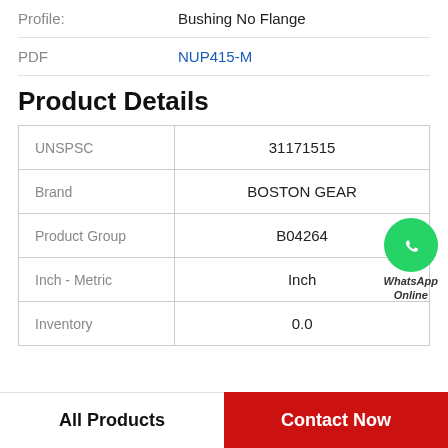|  |  |
| --- | --- |
| Profile: | Bushing No Flange |
| PDF | NUP415-M |
Product Details
| Property | Value |
| --- | --- |
| UNSPSC | 31171515 |
| Brand | BOSTON GEAR |
| Product Group | B04264 |
| Inch - Metric | Inch |
| Inventory | 0.0 |
All Products
Contact Now